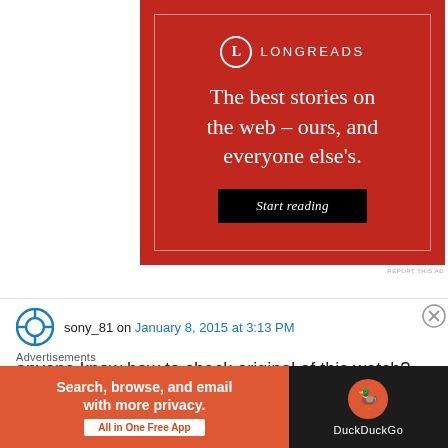[Figure (screenshot): Longreads advertisement banner with red background, circle-L logo, tagline 'The best stories on the web – ours, and everyone else's.' and a 'Start reading' button]
REPORT THIS AD
sony_81 on January 8, 2015 at 3:13 PM
anyone know how to check original of this watch? from serial number or any else like link
Advertisements
[Figure (screenshot): DuckDuckGo advertisement: 'Search, browse, and email with more privacy. All in One Free App' on orange background with DuckDuckGo logo on black background]